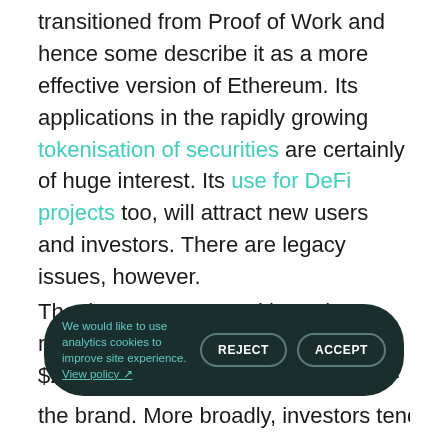transitioned from Proof of Work and hence some describe it as a more effective version of Ethereum. Its applications in the rapidly growing tokenisation of securities are certainly of huge interest. Its use for DeFi projects too, will attract new users and investors. There are legacy issues, however.
The three-year saga with market regulators and early investors over its $232m ICO — which drew in a class-action lawsuit and en[ded...]
the brand. More broadly, investors tend to